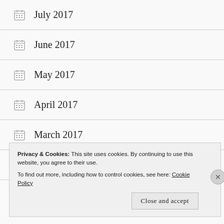July 2017
June 2017
May 2017
April 2017
March 2017
February 2017
January 2017 (partially visible)
Privacy & Cookies: This site uses cookies. By continuing to use this website, you agree to their use. To find out more, including how to control cookies, see here: Cookie Policy